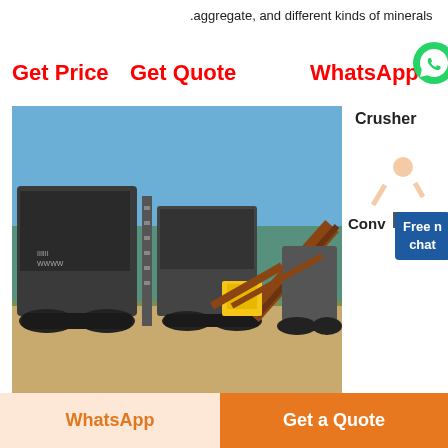.aggregate, and different kinds of minerals
Get Price
Get Quote
WhatsApp
[Figure (photo): Mobile crushing and screening equipment on a construction/mining site, with multiple tracked crushers and conveyors on sandy ground under blue sky]
Crusher
Conv
Free chat
Construction Pdf
WhatsApp
Get a Quote